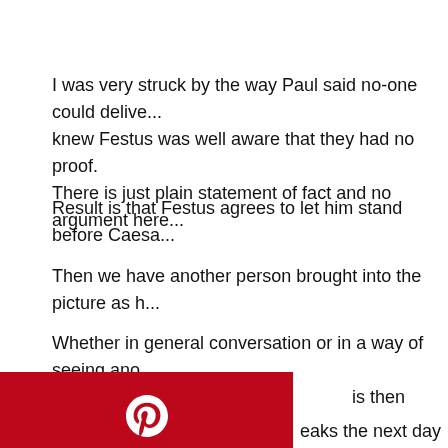I was very struck by the way Paul said no-one could delive... knew Festus was well aware that they had no proof. There is just plain statement of fact and no argument here...
Result is that Festus agrees to let him stand before Caesa...
Then we have another person brought into the picture as h...
Whether in general conversation or in a way of seeing ano... is then interested en...
[Figure (infographic): Social media share buttons: Pinterest (red), Facebook (dark blue), Twitter (light blue), and a fourth green button with a circular arrow/share icon]
...eaks the next day tha... s appeal before Caesa... when we see how the...
...nable to send a pris...
...ed to present a case a... Only something tha...